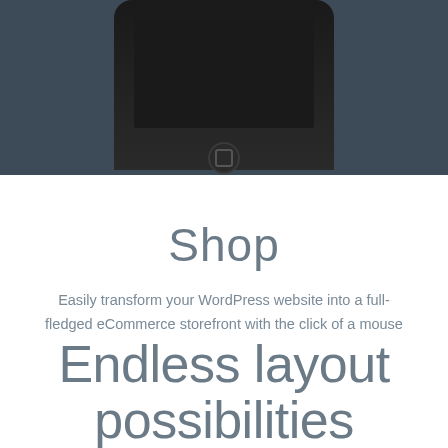[Figure (photo): Bottom portion of a smartphone device with home button, dark bezel, shown against a dark blue-gray background]
Shop
Easily transform your WordPress website into a full-fledged eCommerce storefront with the click of a mouse (and for absolutely no additional cost). Multiple product grid styles
Endless layout possibilities